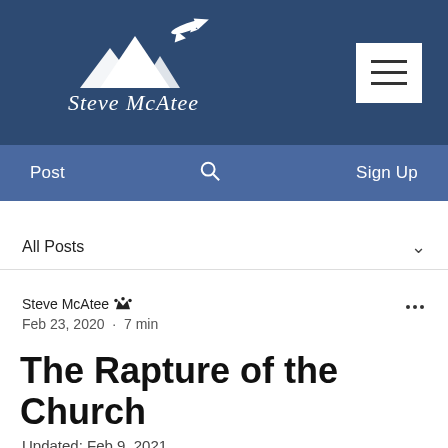[Figure (logo): Steve McAtee website logo with mountain and airplane silhouette on dark navy background, white script text reading Steve McAtee]
Post  🔍  Sign Up
All Posts ∨
Steve McAtee 👑
Feb 23, 2020 · 7 min
The Rapture of the Church
Updated: Feb 9, 2021